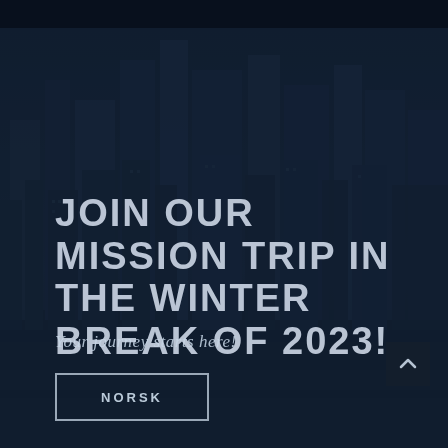[Figure (photo): Aerial city skyline view with tall buildings at twilight, overlaid with a dark navy blue semi-transparent overlay. A small scroll-up arrow button appears in the lower right.]
JOIN OUR MISSION TRIP IN THE WINTER BREAK OF 2023!
Your journey starts here!
NORSK